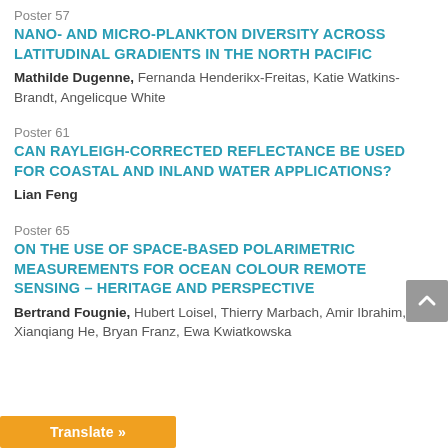Poster 57
NANO- AND MICRO-PLANKTON DIVERSITY ACROSS LATITUDINAL GRADIENTS IN THE NORTH PACIFIC
Mathilde Dugenne, Fernanda Henderikx-Freitas, Katie Watkins-Brandt, Angelicque White
Poster 61
CAN RAYLEIGH-CORRECTED REFLECTANCE BE USED FOR COASTAL AND INLAND WATER APPLICATIONS?
Lian Feng
Poster 65
ON THE USE OF SPACE-BASED POLARIMETRIC MEASUREMENTS FOR OCEAN COLOUR REMOTE SENSING – HERITAGE AND PERSPECTIVE
Bertrand Fougnie, Hubert Loisel, Thierry Marbach, Amir Ibrahim, Xianqiang He, Bryan Franz, Ewa Kwiatkowska